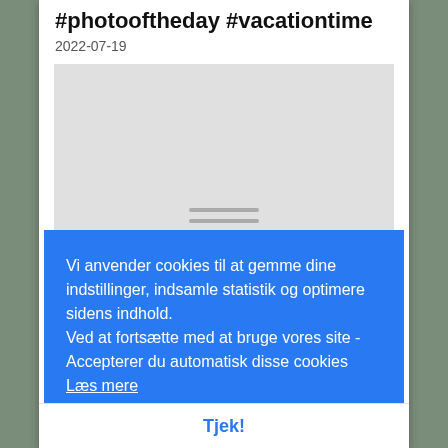#photooftheday #vacationtime
2022-07-19
[Figure (photo): Gray image placeholder with hamburger/loading lines icon in center]
217/... with... photography, so I needed a break. But here I am again #365days
2022-08-05
Vi anvender cookies til at gemme dine indstillinger, indsamle statistik og optimere sidens indhold. Ved at fortsætte med at bruge vores site - Accepterer du automatisk disse cookies Læs mere
Tjek!